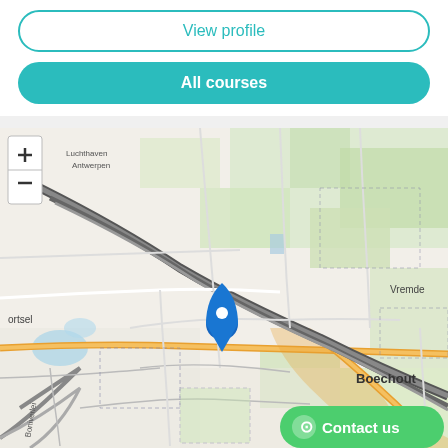View profile
All courses
[Figure (map): OpenStreetMap showing Boechout area near Antwerp, Belgium. Blue location pin marker near center. Visible place names: Luchthaven Antwerpen, Vremde, Mortsel, Boechout, Boniverlei. Zoom in/out controls on top left. Green Contact us button with WhatsApp icon on bottom right.]
Contact us